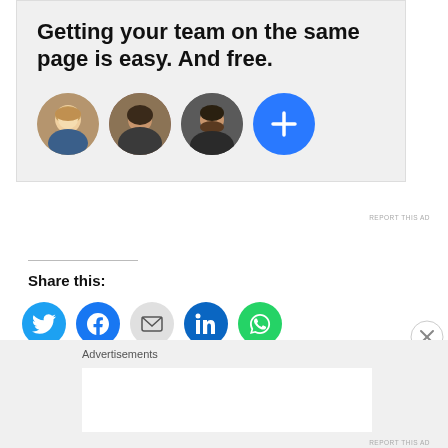[Figure (illustration): Advertisement banner with text 'Getting your team on the same page is easy. And free.' and four circular avatars (three photos and one blue plus button) on a light gray background.]
REPORT THIS AD
Share this:
[Figure (infographic): Row of five circular social share buttons: Twitter (blue bird), Facebook (blue f), Email (gray envelope), LinkedIn (dark blue in), WhatsApp (green phone/message icon).]
Advertisements
REPORT THIS AD